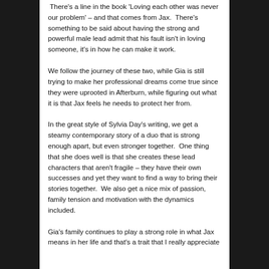There's a line in the book 'Loving each other was never our problem' – and that comes from Jax.  There's something to be said about having the strong and powerful male lead admit that his fault isn't in loving someone, it's in how he can make it work.
We follow the journey of these two, while Gia is still trying to make her professional dreams come true since they were uprooted in Afterburn, while figuring out what it is that Jax feels he needs to protect her from.
In the great style of Sylvia Day's writing, we get a steamy contemporary story of a duo that is strong enough apart, but even stronger together.  One thing that she does well is that she creates these lead characters that aren't fragile – they have their own successes and yet they want to find a way to bring their stories together.  We also get a nice mix of passion, family tension and motivation with the dynamics included.
Gia's family continues to play a strong role in what Jax means in her life and that's a trait that I really appreciate